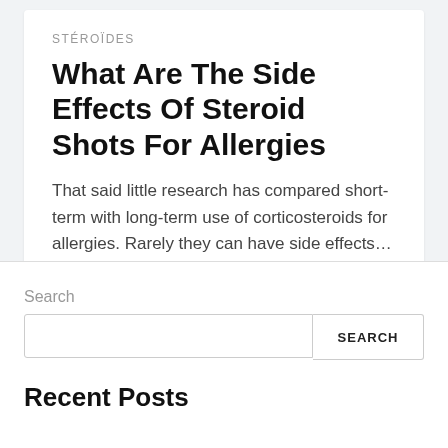STÉROÏDES
What Are The Side Effects Of Steroid Shots For Allergies
That said little research has compared short-term with long-term use of corticosteroids for allergies. Rarely they can have side effects…
Search
Recent Posts